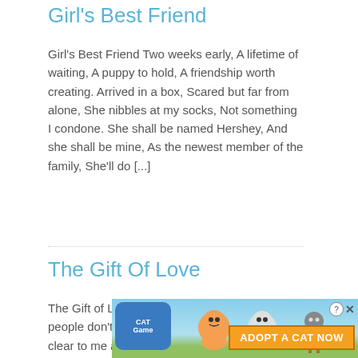Girl's Best Friend
Girl's Best Friend Two weeks early, A lifetime of waiting, A puppy to hold, A friendship worth creating. Arrived in a box, Scared but far from alone, She nibbles at my socks, Not something I condone. She shall be named Hershey, And she shall be mine, As the newest member of the family, She'll do [...]
The Gift Of Love
The Gift of Love It's hard to believe when people don't see Who is the maker above. It's clear to me and will always be That He is th... star...
[Figure (other): Advertisement banner for 'Cat Game - Adopt A Cat Now' with cartoon cats, blue sky background, and orange button reading ADOPT A CAT NOW]